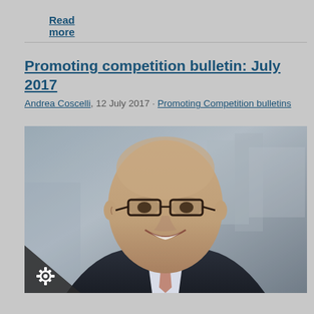Read more
Promoting competition bulletin: July 2017
Andrea Coscelli, 12 July 2017 · Promoting Competition bulletins
[Figure (photo): Portrait photo of Andrea Coscelli, a bald man with glasses wearing a dark suit and tie, smiling, photographed outdoors with a building in the background.]